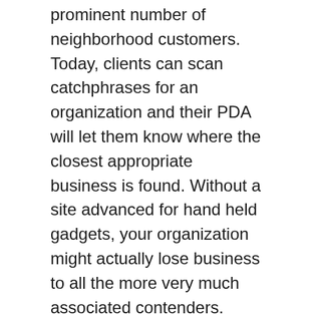prominent number of neighborhood customers. Today, clients can scan catchphrases for an organization and their PDA will let them know where the closest appropriate business is found. Without a site advanced for hand held gadgets, your organization might actually lose business to all the more very much associated contenders.
Business
All About Casino Roulette
Boys Clothing Can Be Fashionable, Too
slot resmi